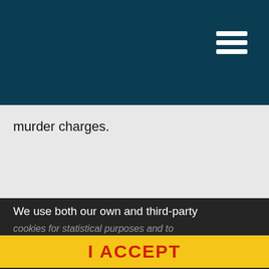TDC
murder charges.
We use both our own and third-party cookies for statistical purposes and to
I ACCEPT
browse, we consider that you accept the use of these.